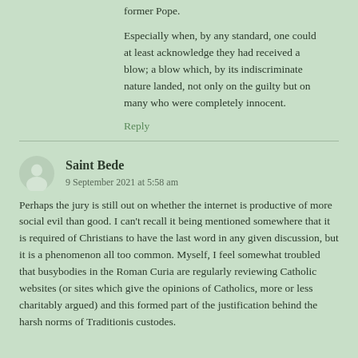former Pope.
Especially when, by any standard, one could at least acknowledge they had received a blow; a blow which, by its indiscriminate nature landed, not only on the guilty but on many who were completely innocent.
Reply
Saint Bede
9 September 2021 at 5:58 am
Perhaps the jury is still out on whether the internet is productive of more social evil than good. I can't recall it being mentioned somewhere that it is required of Christians to have the last word in any given discussion, but it is a phenomenon all too common. Myself, I feel somewhat troubled that busybodies in the Roman Curia are regularly reviewing Catholic websites (or sites which give the opinions of Catholics, more or less charitably argued) and this formed part of the justification behind the harsh norms of Traditionis custodes.